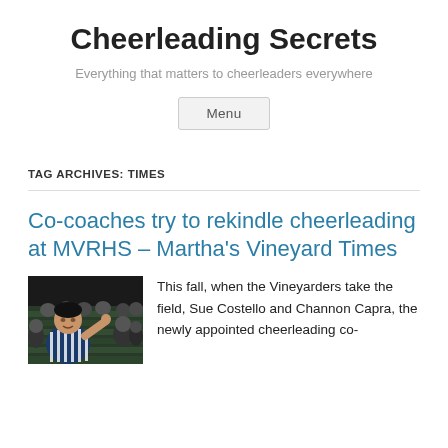Cheerleading Secrets
Everything that matters to cheerleaders everywhere
Menu
TAG ARCHIVES: TIMES
Co-coaches try to rekindle cheerleading at MVRHS – Martha's Vineyard Times
[Figure (photo): Photo of a person at a sporting event in stadium seating, wearing a striped shirt, crowd in background]
This fall, when the Vineyarders take the field, Sue Costello and Channon Capra, the newly appointed cheerleading co-